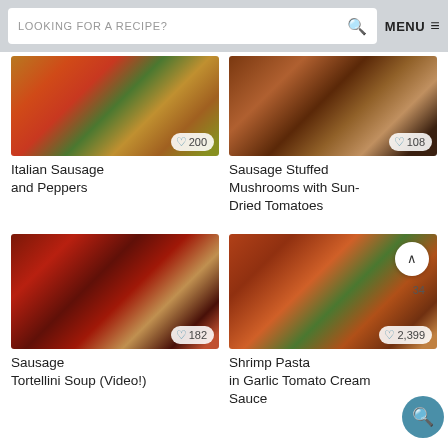LOOKING FOR A RECIPE? [search] MENU ≡
[Figure (photo): Italian Sausage and Peppers dish photo with colorful vegetables]
♡ 200
Italian Sausage and Peppers
[Figure (photo): Sausage Stuffed Mushrooms with Sun-Dried Tomatoes dish photo]
♡ 108
Sausage Stuffed Mushrooms with Sun-Dried Tomatoes
[Figure (photo): Sausage Tortellini Soup in a pot]
♡ 182
Sausage Tortellini Soup (Video!)
[Figure (photo): Shrimp Pasta in Garlic Tomato Cream Sauce]
♡ 2,399
Shrimp Pasta in Garlic Tomato Cream Sauce